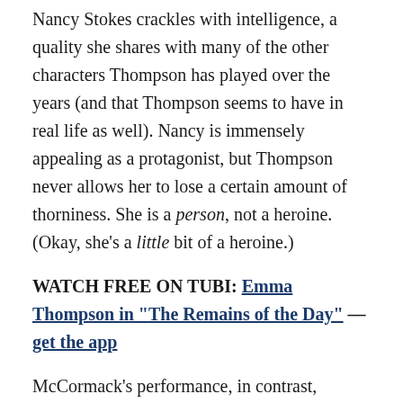Nancy Stokes crackles with intelligence, a quality she shares with many of the other characters Thompson has played over the years (and that Thompson seems to have in real life as well). Nancy is immensely appealing as a protagonist, but Thompson never allows her to lose a certain amount of thorniness. She is a person, not a heroine. (Okay, she's a little bit of a heroine.)
WATCH FREE ON TUBI: Emma Thompson in "The Remains of the Day" — get the app
McCormack's performance, in contrast, doesn't seem nearly as complex right off the bat, but as the film progresses and the dynamic shifts, it becomes clear exactly how layered his work has been in creating the Leo Grande persona while leaving the occasional crack